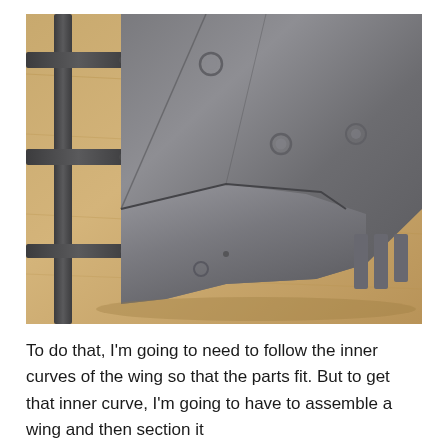[Figure (photo): Close-up photograph of a plastic model kit wing part still partially on the sprue/runner frame, placed on a wooden surface. The dark grey wing component shows its underside with circular sink marks and connection tabs/slots along the trailing edge.]
To do that, I'm going to need to follow the inner curves of the wing so that the parts fit. But to get that inner curve, I'm going to have to assemble a wing and then section it